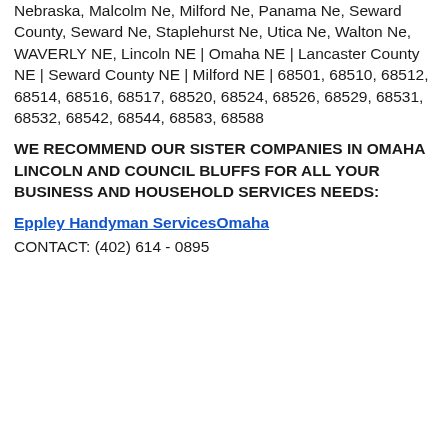Nebraska, Malcolm Ne, Milford Ne, Panama Ne, Seward County, Seward Ne, Staplehurst Ne, Utica Ne, Walton Ne, WAVERLY NE, Lincoln NE | Omaha NE | Lancaster County NE | Seward County NE | Milford NE | 68501, 68510, 68512, 68514, 68516, 68517, 68520, 68524, 68526, 68529, 68531, 68532, 68542, 68544, 68583, 68588
WE RECOMMEND OUR SISTER COMPANIES IN OMAHA LINCOLN AND COUNCIL BLUFFS FOR ALL YOUR BUSINESS AND HOUSEHOLD SERVICES NEEDS:
Eppley Handyman ServicesOmaha
CONTACT: (402) 614 - 0895